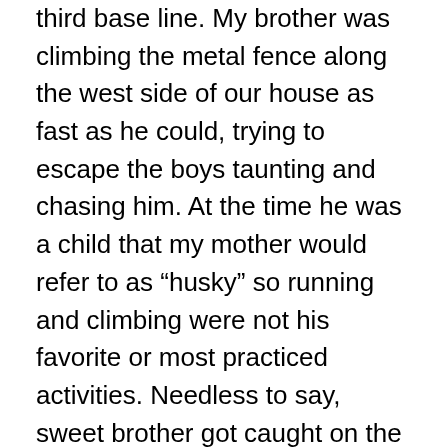third base line. My brother was climbing the metal fence along the west side of our house as fast as he could, trying to escape the boys taunting and chasing him. At the time he was a child that my mother would refer to as “husky” so running and climbing were not his favorite or most practiced activities. Needless to say, sweet brother got caught on the top of the fence by his pants. He hung there exposing his Underoos and losing his pride all at the same time. What had started as an innocent game of tag had ended with such shame that my brother can still hardly talk about it today. Later that evening my father “demanded” again an apology from these boys, yelling and threatening that they